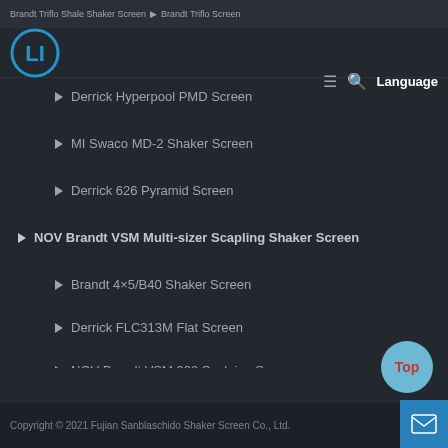Brandt Triflo Shale Shaker Screen > Brandt Triflo Screen
Derrick Hyperpool PMD Screen
MI Swaco MD-2 Shaker Screen
Derrick 626 Pyramid Screen
NOV Brandt VSM Multi-sizer Scapling Shaker Screen
Brandt 4×5/B40 Shaker Screen
Derrick FLC313M Flat Screen
NOV Brandt VSM 300 Scalping Screen
Copyright © 2021 Fujian Sanblaschido Shaker Screen Co., Ltd.